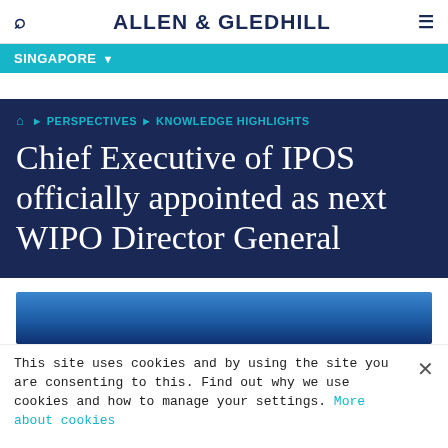ALLEN & GLEDHILL
SINGAPORE
🏠 ▶ PERSPECTIVES ▶ KNOWLEDGE HIGHLIGHTS
Chief Executive of IPOS officially appointed as next WIPO Director General
[Figure (photo): Blue gradient image strip, partially visible at bottom of dark section]
This site uses cookies and by using the site you are consenting to this. Find out why we use cookies and how to manage your settings. More about cookies